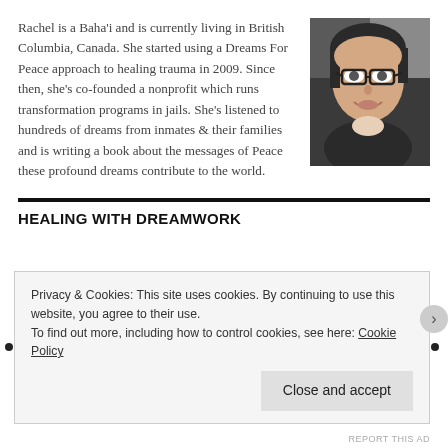Rachel is a Baha'i and is currently living in British Columbia, Canada. She started using a Dreams For Peace approach to healing trauma in 2009. Since then, she's co-founded a nonprofit which runs transformation programs in jails. She's listened to hundreds of dreams from inmates & their families and is writing a book about the messages of Peace these profound dreams contribute to the world.
[Figure (photo): Portrait photo of a woman with glasses sitting in a car, smiling]
HEALING WITH DREAMWORK
Privacy & Cookies: This site uses cookies. By continuing to use this website, you agree to their use.
To find out more, including how to control cookies, see here: Cookie Policy
Close and accept